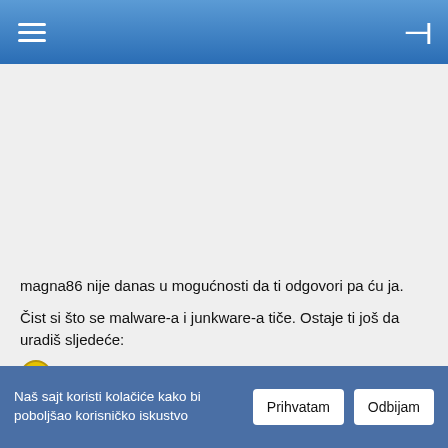≡  —|
magna86 nije danas u mogućnosti da ti odgovori pa ću ja.
Čist si što se malware-a i junkware-a tiče. Ostaje ti još da uradiš sljedeće:
[Figure (illustration): Yellow circle with right-pointing arrow icon]
Preuzmi "Xplode"-ov DelFix i sačuvaj ga na Desktop
Dvoklikom pokreni program.
Naš sajt koristi kolačiće kako bi poboljšao korisničko iskustvo  Prihvatam  Odbijam